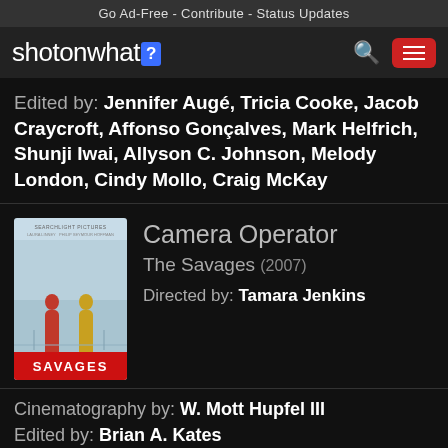Go Ad-Free - Contribute - Status Updates
[Figure (logo): ShotOnWhat? website logo with search and menu icons]
Edited by: Jennifer Augé, Tricia Cooke, Jacob Craycroft, Affonso Gonçalves, Mark Helfrich, Shunji Iwai, Allyson C. Johnson, Melody London, Cindy Mollo, Craig McKay
[Figure (photo): Movie poster for The Savages (2007) with red SAVAGES title bar]
Camera Operator
The Savages  (2007)
Directed by: Tamara Jenkins
Cinematography by: W. Mott Hupfel III
Edited by: Brian A. Kates